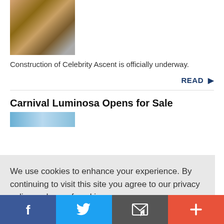[Figure (photo): Thumbnail photo of construction materials/items in a box]
Construction of Celebrity Ascent is officially underway.
READ →
Carnival Luminosa Opens for Sale
[Figure (photo): Partial thumbnail image with blue sky]
We use cookies to enhance your experience. By continuing to visit this site you agree to our privacy policy and use of cookies.
Learn more
OK
[Figure (infographic): Bottom navigation bar with Facebook, Twitter, email, and plus icons]